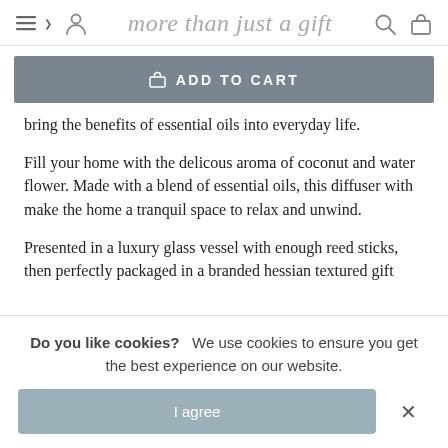more than just a gift
[Figure (other): Add to Cart button with shopping bag icon]
bring the benefits of essential oils into everyday life.
Fill your home with the delicous aroma of coconut and water flower. Made with a blend of essential oils, this diffuser with make the home a tranquil space to relax and unwind.
Presented in a luxury glass vessel with enough reed sticks, then perfectly packaged in a branded hessian textured gift
Do you like cookies? We use cookies to ensure you get the best experience on our website.
[Figure (other): I agree button with close X button for cookie consent]